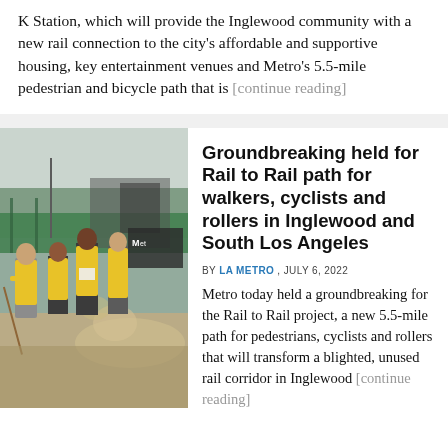K Station, which will provide the Inglewood community with a new rail connection to the city's affordable and supportive housing, key entertainment venues and Metro's 5.5-mile pedestrian and bicycle path that is [continue reading]
[Figure (photo): People in yellow safety vests at a groundbreaking ceremony, shoveling dirt at a construction site with fencing and green barriers in the background.]
Groundbreaking held for Rail to Rail path for walkers, cyclists and rollers in Inglewood and South Los Angeles
BY LA METRO , JULY 6, 2022
Metro today held a groundbreaking for the Rail to Rail project, a new 5.5-mile path for pedestrians, cyclists and rollers that will transform a blighted, unused rail corridor in Inglewood [continue reading]